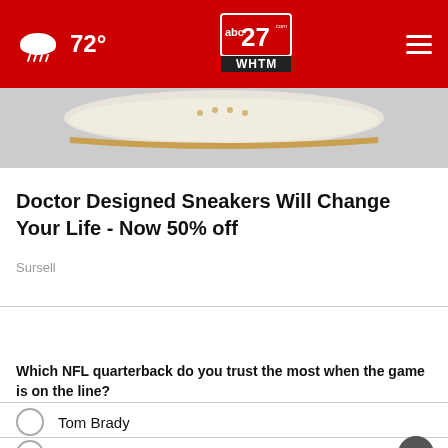72° abc27 WHTM
[Figure (photo): Partial view of a sneaker with decorative sole detail, shown from above on a gray background.]
Doctor Designed Sneakers Will Change Your Life - Now 50% off
Sursell
WHAT DO YOU THINK?
Which NFL quarterback do you trust the most when the game is on the line?
Tom Brady
Aaron Rodgers
[Figure (screenshot): DiscovertheForest.org advertisement banner with forest imagery, Ad Council and US Forest Service logos.]